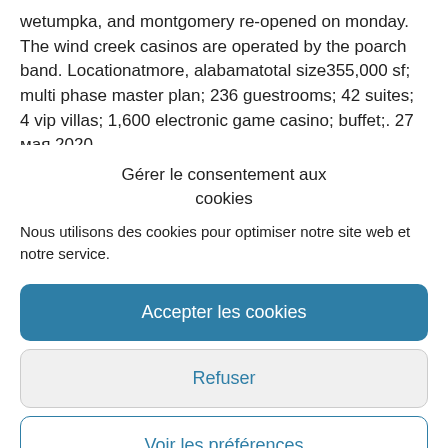wetumpka, and montgomery re-opened on monday. The wind creek casinos are operated by the poarch band. Locationatmore, alabamatotal size355,000 sf; multi phase master plan; 236 guestrooms; 42 suites; 4 vip villas; 1,600 electronic game casino; buffet;. 27 мая 2020
Gérer le consentement aux cookies
Nous utilisons des cookies pour optimiser notre site web et notre service.
Accepter les cookies
Refuser
Voir les préférences